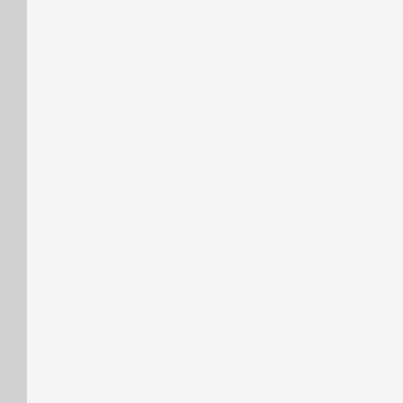[Figure (other): Empty light gray panel occupying the left portion of the page]
And even if he was ,he may be got bette